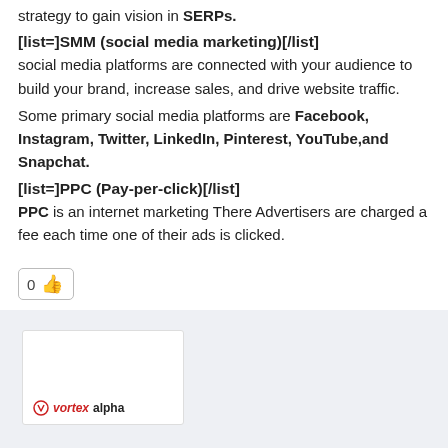strategy to gain vision in SERPs.
[list=]SMM (social media marketing)[/list]
social media platforms are connected with your audience to build your brand, increase sales, and drive website traffic.
Some primary social media platforms are Facebook, Instagram, Twitter, LinkedIn, Pinterest, YouTube,and Snapchat.
[list=]PPC (Pay-per-click)[/list]
PPC is an internet marketing There Advertisers are charged a fee each time one of their ads is clicked.
[Figure (other): Like button showing count 0 with thumbs up emoji]
[Figure (other): Comment section with vortexalpha logo card]